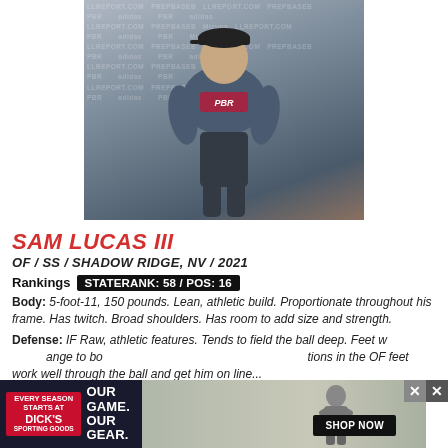[Figure (photo): Headshot of Sam Lucas III wearing a PBR (Prep Baseball Report) jersey and cap with GBI logo, in front of a PBR/adidas/Mizuno branded backdrop]
SAM LUCAS III
OF / SS / SHADOW RIDGE, NV / 2021
Rankings  STATE RANK: 58 / POS: 16
Body: 5-foot-11, 150 pounds. Lean, athletic build. Proportionate throughout his frame. Has twitch. Broad shoulders. Has room to add size and strength.
Defense: IF Raw, athletic features. Tends to field the ball deep. Feet w... range to bo... tions in the OF feet work well through the ball and get him on line...
[Figure (other): Advertisement banner for Dick's Sporting Goods: OUR GAME. OUR GEAR. with SHOP NOW button]